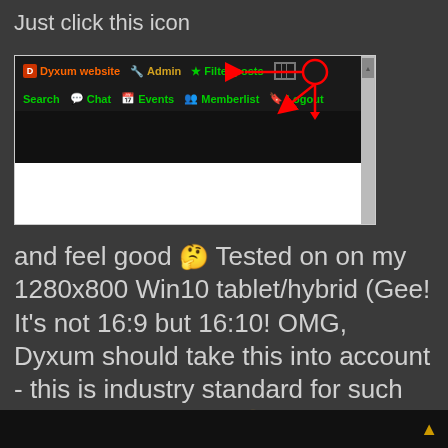Just click this icon
[Figure (screenshot): Screenshot of a dark-themed forum navigation bar showing items: Dyxum website, Admin, Filter posts, Search, Chat, Events, Memberlist, Logout. A red circle highlights a column/filter icon next to 'Filter posts', with red arrows pointing to it.]
and feel good 🤔 Tested on on my 1280x800 Win10 tablet/hybrid (Gee! It's not 16:9 but 16:10! OMG, Dyxum should take this into account - this is industry standard for such devices in the end! 😊)
▲